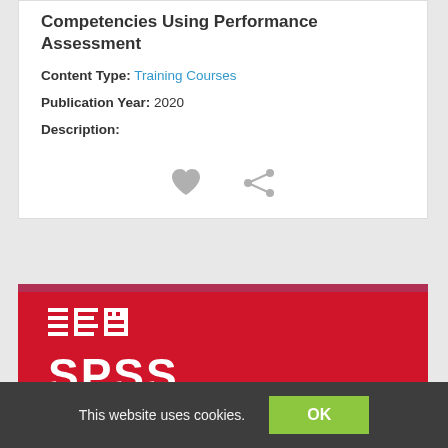Competencies Using Performance Assessment
Content Type: Training Courses
Publication Year: 2020
Description:
[Figure (illustration): Heart (favorite) icon and share icon displayed in gray]
[Figure (logo): IBM SPSS logo on red background]
This website uses cookies.